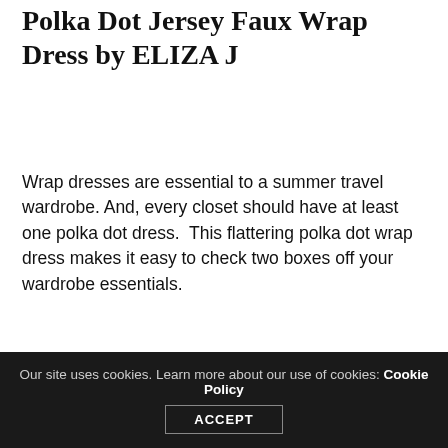Polka Dot Jersey Faux Wrap Dress by ELIZA J
Wrap dresses are essential to a summer travel wardrobe. And, every closet should have at least one polka dot dress.  This flattering polka dot wrap dress makes it easy to check two boxes off your wardrobe essentials.
[Figure (photo): Woman wearing a navy blue and white polka dot faux wrap dress with cap sleeves, shown from waist up against a light grey background.]
Our site uses cookies. Learn more about our use of cookies: Cookie Policy  ACCEPT